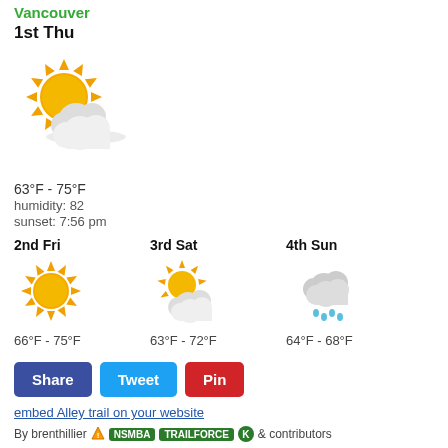Vancouver
1st Thu
[Figure (illustration): Weather icon: partly cloudy with sun]
63°F - 75°F
humidity: 82
sunset: 7:56 pm
2nd Fri
[Figure (illustration): Weather icon: sunny]
66°F - 75°F
3rd Sat
[Figure (illustration): Weather icon: partly cloudy]
63°F - 72°F
4th Sun
[Figure (illustration): Weather icon: rain/cloudy]
64°F - 68°F
Share  Tweet  Pin
embed Alley trail on your website
By brenthillier  NSMBA  TRAILFORCE  K & contributors